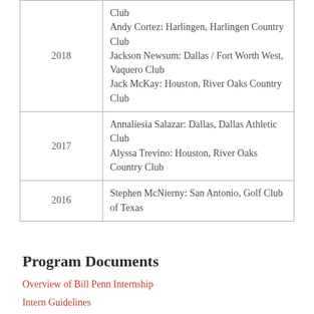| Year | Intern |
| --- | --- |
| 2018 | Club
Andy Cortez: Harlingen, Harlingen Country Club
Jackson Newsum: Dallas / Fort Worth West, Vaquero Club
Jack McKay: Houston, River Oaks Country Club |
| 2017 | Annaliesia Salazar: Dallas, Dallas Athletic Club
Alyssa Trevino: Houston, River Oaks Country Club |
| 2016 | Stephen McNierny: San Antonio, Golf Club of Texas |
Program Documents
Overview of Bill Penn Internship
Intern Guidelines